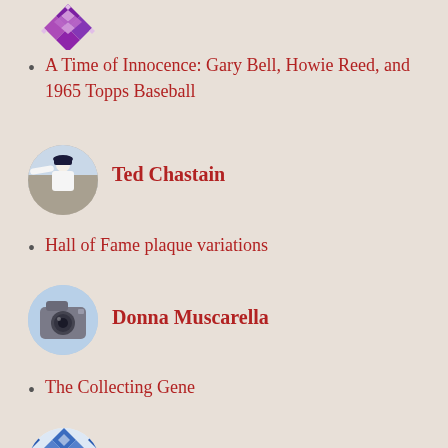[Figure (logo): Decorative purple geometric snowflake/diamond pattern logo at top]
A Time of Innocence: Gary Bell, Howie Reed, and 1965 Topps Baseball
[Figure (photo): Circular avatar photo of a baseball player pitching]
Ted Chastain
Hall of Fame plaque variations
[Figure (photo): Circular avatar photo with light blue background showing a vintage camera or trophy]
Donna Muscarella
The Collecting Gene
[Figure (logo): Circular blue and white geometric diamond/quilt pattern logo]
vat69er
1954: The Year of the Regional